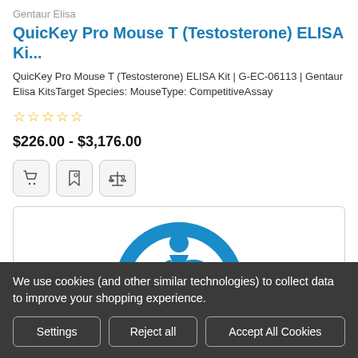Gentaur Elisa
QuicKey Pro Mouse T (Testosterone) ELISA Ki...
QuicKey Pro Mouse T (Testosterone) ELISA Kit | G-EC-06113 | Gentaur Elisa KitsTarget Species: MouseType: CompetitiveAssay
☆☆☆☆☆
$226.00 - $3,176.00
[Figure (screenshot): Three icon buttons: shopping cart, tag/bookmark, and balance scale, in rounded square button style]
[Figure (logo): Partial blue circular logo with a figure (person running or scientist) inside, shown in a white rectangular box with border]
We use cookies (and other similar technologies) to collect data to improve your shopping experience.
Settings | Reject all | Accept All Cookies